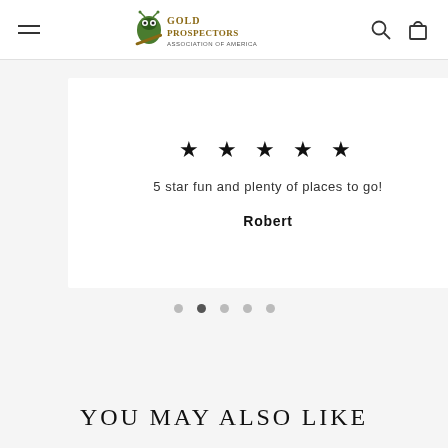Gold Prospectors Association of America
[Figure (other): Review card with 5 stars and text: 5 star fun and plenty of places to go! — Robert]
5 star fun and plenty of places to go!
Robert
[Figure (other): Carousel navigation dots, 5 dots with second dot active]
YOU MAY ALSO LIKE